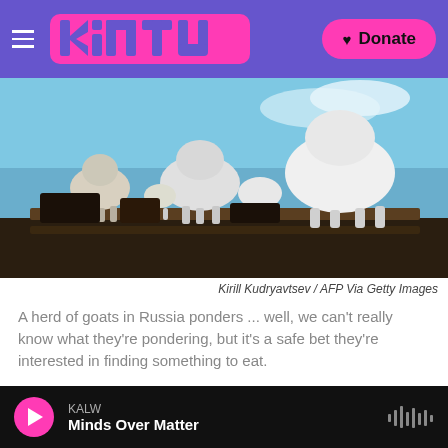KALW / Kintu — Donate
[Figure (photo): A herd of white goats standing on wooden beams/troughs under a blue sky, photographed from a low angle in Russia.]
Kirill Kudryavtsev / AFP Via Getty Images
A herd of goats in Russia ponders ... well, we can't really know what they're pondering, but it's a safe bet they're interested in finding something to eat.
Why do animals — including people — behave the way they do?
KALW — Minds Over Matter